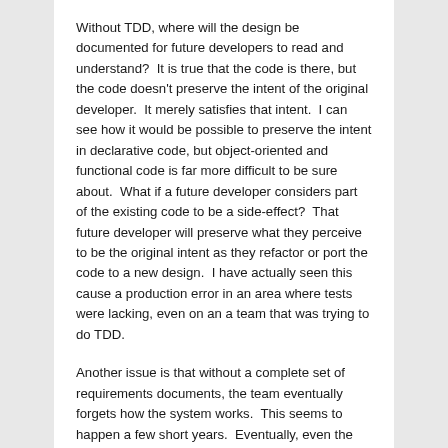Without TDD, where will the design be documented for future developers to read and understand?  It is true that the code is there, but the code doesn't preserve the intent of the original developer.  It merely satisfies that intent.  I can see how it would be possible to preserve the intent in declarative code, but object-oriented and functional code is far more difficult to be sure about.  What if a future developer considers part of the existing code to be a side-effect?  That future developer will preserve what they perceive to be the original intent as they refactor or port the code to a new design.  I have actually seen this cause a production error in an area where tests were lacking, even on an a team that was trying to do TDD.
Another issue is that without a complete set of requirements documents, the team eventually forgets how the system works.  This seems to happen a few short years.  Eventually, even the most brilliant minds on the team start to forget what the system does in certain important state transitions.  The system gets more complicated as new features are added and, at the same